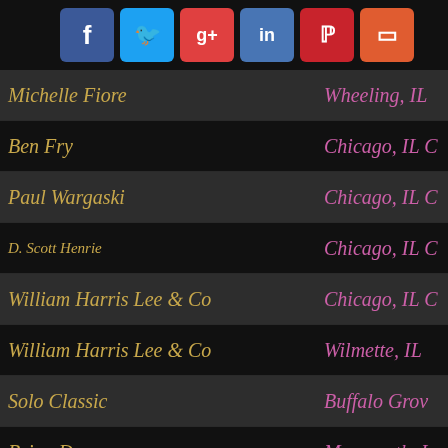[Figure (other): Social media share buttons: Facebook, Twitter, Google+, LinkedIn, Pinterest, and one more (orange/red icon)]
Michelle Fiore — Wheeling, IL
Ben Fry — Chicago, IL
Paul Wargaski — Chicago, IL
D. Scott Henrie — Chicago, IL
William Harris Lee & Co — Chicago, IL
William Harris Lee & Co — Wilmette, IL
Solo Classic — Buffalo Grove
Brian Daw — Monmouth,
Chicago Bass Works — Alsip, IL 608
Double Bass Luthiers INDIANA: 4 .
core Orchestral Strings — Indianapolis,
Rebecca Wetzel — Evansville, I